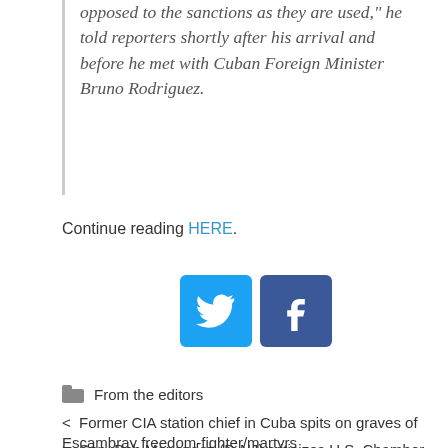opposed to the sanctions as they are used," he told reporters shortly after his arrival and before he met with Cuban Foreign Minister Bruno Rodriguez.
Continue reading HERE.
[Figure (other): Twitter and Facebook social sharing buttons]
From the editors
< Former CIA station chief in Cuba spits on graves of Escambray freedom-fighter/martyrs
> Sen. Bob Menendez (D-NJ) criticizes U.S. Chamber of Commerce trip to Cuba